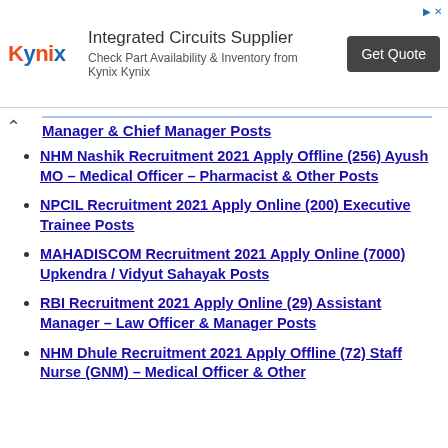[Figure (other): Kynix advertisement banner: logo 'Kynix' in red/orange, text 'Integrated Circuits Supplier – Check Part Availability & Inventory from Kynix Kynix', and a dark 'Get Quote' button.]
Manager & Chief Manager Posts
NHM Nashik Recruitment 2021 Apply Offline (256) Ayush MO – Medical Officer – Pharmacist & Other Posts
NPCIL Recruitment 2021 Apply Online (200) Executive Trainee Posts
MAHADISCOM Recruitment 2021 Apply Online (7000) Upkendra / Vidyut Sahayak Posts
RBI Recruitment 2021 Apply Online (29) Assistant Manager – Law Officer & Manager Posts
NHM Dhule Recruitment 2021 Apply Offline (72) Staff Nurse (GNM) – Medical Officer & Other